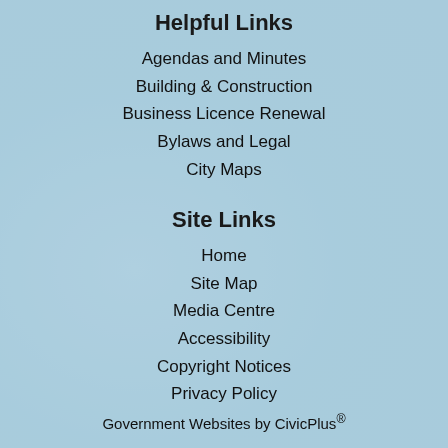Helpful Links
Agendas and Minutes
Building & Construction
Business Licence Renewal
Bylaws and Legal
City Maps
Site Links
Home
Site Map
Media Centre
Accessibility
Copyright Notices
Privacy Policy
Government Websites by CivicPlus®